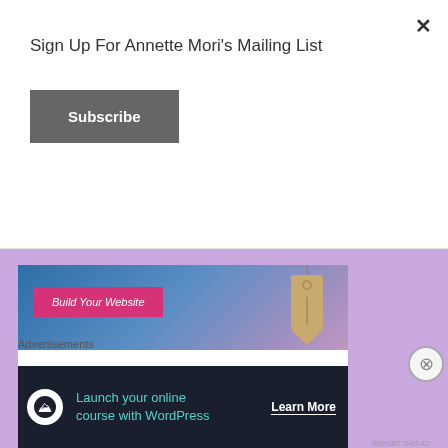Sign Up For Annette Mori's Mailing List
×
Subscribe
[Figure (illustration): WordPress.com advertisement banner with blue-purple gradient background, a pink 'Build Your Website' button, a hanging price tag graphic, and WordPress.com logo at bottom left]
[Figure (illustration): White panel with a pink rounded shape at the bottom center, partially visible]
Advertisements
[Figure (illustration): Dark navy advertisement banner: icon of person with tree/cloud, teal text 'Launch your online course with WordPress', white 'Learn More' button with underline]
REPORT THIS AD